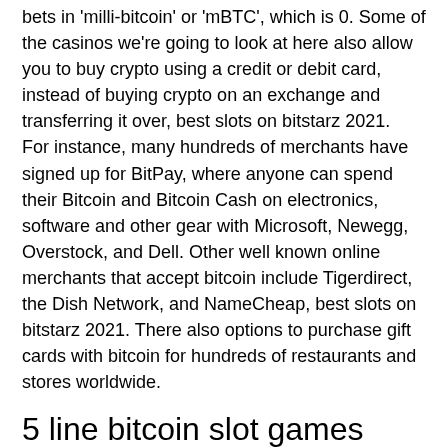bets in 'milli-bitcoin' or 'mBTC', which is 0. Some of the casinos we're going to look at here also allow you to buy crypto using a credit or debit card, instead of buying crypto on an exchange and transferring it over, best slots on bitstarz 2021. For instance, many hundreds of merchants have signed up for BitPay, where anyone can spend their Bitcoin and Bitcoin Cash on electronics, software and other gear with Microsoft, Newegg, Overstock, and Dell. Other well known online merchants that accept bitcoin include Tigerdirect, the Dish Network, and NameCheap, best slots on bitstarz 2021. There also options to purchase gift cards with bitcoin for hundreds of restaurants and stores worldwide.
5 line bitcoin slot games
During 2020 bitstarz rewarded the top 30 players on the slot wars. This iphone slots app is the hottest casino slots game of 2021.